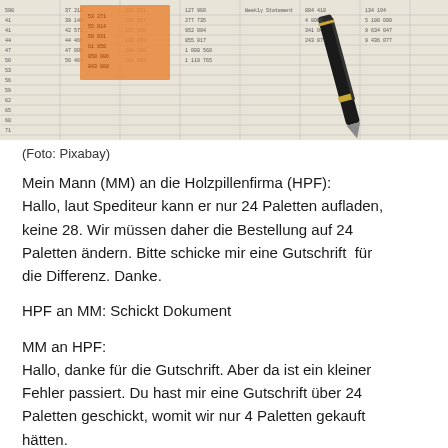[Figure (photo): A spreadsheet with columns of financial numbers, partially covered by an orange sticky note, with a black and gold pen resting on top.]
(Foto: Pixabay)
Mein Mann (MM) an die Holzpillenfirma (HPF): Hallo, laut Spediteur kann er nur 24 Paletten aufladen, keine 28. Wir müssen daher die Bestellung auf 24 Paletten ändern. Bitte schicke mir eine Gutschrift  für die Differenz. Danke.
HPF an MM: Schickt Dokument
MM an HPF: Hallo, danke für die Gutschrift. Aber da ist ein kleiner Fehler passiert. Du hast mir eine Gutschrift über 24 Paletten geschickt, womit wir nur 4 Paletten gekauft hätten. Es ist vielleicht am einfachsten, wenn du diese